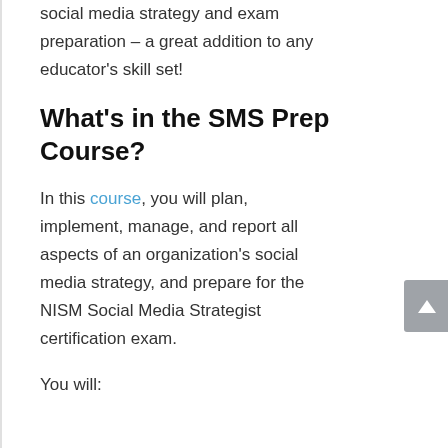social media strategy and exam preparation – a great addition to any educator's skill set!
What's in the SMS Prep Course?
In this course, you will plan, implement, manage, and report all aspects of an organization's social media strategy, and prepare for the NISM Social Media Strategist certification exam.
You will: